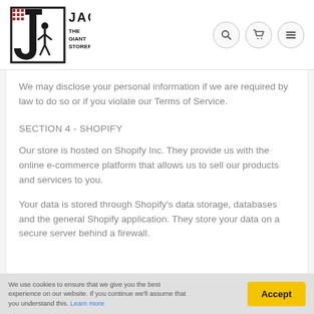Jack The Giant Storer - logo and navigation
We may disclose your personal information if we are required by law to do so or if you violate our Terms of Service.
SECTION 4 - SHOPIFY
Our store is hosted on Shopify Inc. They provide us with the online e-commerce platform that allows us to sell our products and services to you.
Your data is stored through Shopify's data storage, databases and the general Shopify application. They store your data on a secure server behind a firewall.
We use cookies to ensure that we give you the best experience on our website. If you continue we'll assume that you understand this. Learn more